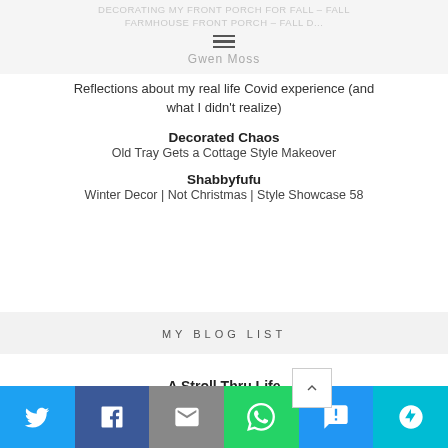DECORATING MY FRONT PORCH FOR FALL - FALL FARMHOUSE FRONT PORCH - FALL D...
Gwen Moss
Reflections about my real life Covid experience (and what I didn't realize)
Decorated Chaos
Old Tray Gets a Cottage Style Makeover
Shabbyfufu
Winter Decor | Not Christmas | Style Showcase 58
MY BLOG LIST
A Stroll Thru Life